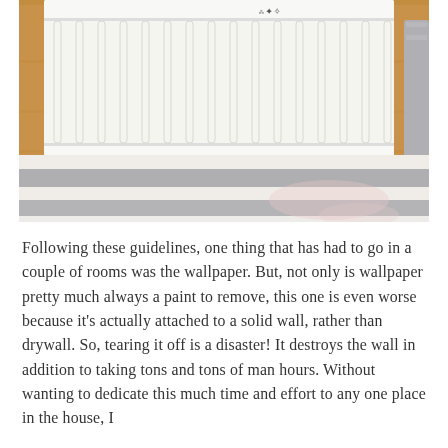[Figure (photo): Photo of a white baby crib with vertical slats on a warm wood floor, with a gray and white striped rug partially visible beneath and in front of the crib. Gray bedding is visible on the right side.]
Following these guidelines, one thing that has had to go in a couple of rooms was the wallpaper. But, not only is wallpaper pretty much always a paint to remove, this one is even worse because it's actually attached to a solid wall, rather than drywall. So, tearing it off is a disaster! It destroys the wall in addition to taking tons and tons of man hours. Without wanting to dedicate this much time and effort to any one place in the house, I